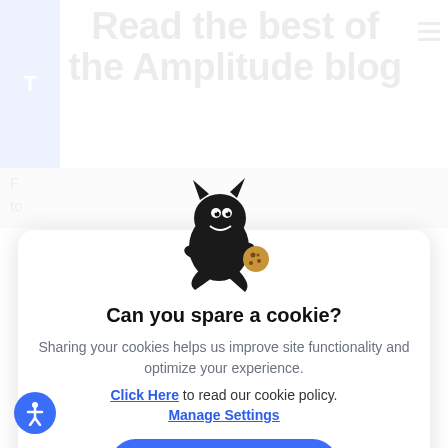Read the best of the Amplitude blog
F... to...
[Figure (illustration): Black cartoon dragon/monster mascot holding a cookie]
Can you spare a cookie?
Sharing your cookies helps us improve site functionality and optimize your experience.
Click Here to read our cookie policy.
Manage Settings
Accept